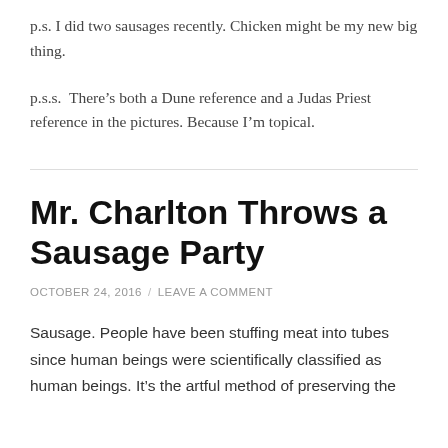p.s. I did two sausages recently. Chicken might be my new big thing.
p.s.s.  There’s both a Dune reference and a Judas Priest reference in the pictures. Because I’m topical.
Mr. Charlton Throws a Sausage Party
OCTOBER 24, 2016 / LEAVE A COMMENT
Sausage. People have been stuffing meat into tubes since human beings were scientifically classified as human beings. It’s the artful method of preserving the